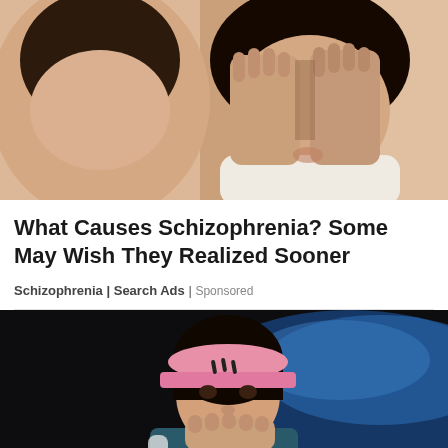[Figure (photo): Woman covering her face with both hands, wearing a cream/beige sweater, hair dark, stress or distress pose]
What Causes Schizophrenia? Some May Wish They Realized Sooner
Schizophrenia | Search Ads | Sponsored
[Figure (photo): Female tennis player wearing a pink visor with Adidas logo, dark teal sleeveless jersey, covering mouth with hand, celebrating or emotional reaction, blurred dark background with blue accent]